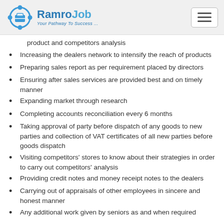RamroJob — Your Pathway To Success...
product and competitors analysis
Increasing the dealers network to intensify the reach of products
Preparing sales report as per requirement placed by directors
Ensuring after sales services are provided best and on timely manner
Expanding market through research
Completing accounts reconciliation every 6 months
Taking approval of party before dispatch of any goods to new parties and collection of VAT certificates of all new parties before goods dispatch
Visiting competitors' stores to know about their strategies in order to carry out competitors' analysis
Providing credit notes and money receipt notes to the dealers
Carrying out of appraisals of other employees in sincere and honest manner
Any additional work given by seniors as and when required